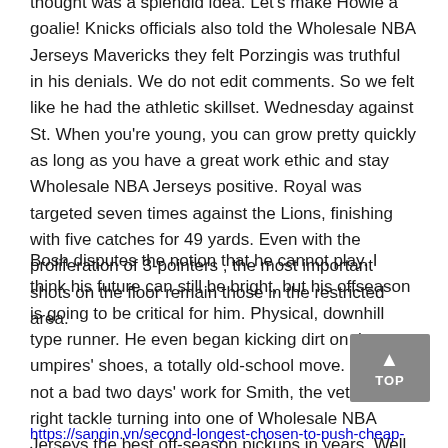thought was a splendid idea. Let's make Howie a goalie! Knicks officials also told the Wholesale NBA Jerseys Mavericks they felt Porzingis was truthful in his denials. We do not edit comments. So we felt like he had the athletic skillset. Wednesday against St. When you're young, you can grow pretty quickly as long as you have a great work ethic and stay Wholesale NBA Jerseys positive. Royal was targeted seven times against the Lions, finishing with five catches for 49 yards. Even with the proliferation of 3-pointers , the most important shots on the floor remain those in the restricted area.
Bosh disputes the notion that he cannot play. I think his future can still be bright, but his offseason is going to be critical for him. Physical, downhill type runner. He even began kicking dirt on the umpires' shoes, a totally old-school move. In fact, not a bad two days' work for Smith, the veteran right tackle turning into one of Wholesale NBA Jerseys the best off-season pickups in years. Well, certainly I thought cheap jerseys free shipping it was a positive in terms of how we played on defense.
https://sangin.vn/second-longest-chosen-to-push-cheap-jerseys/